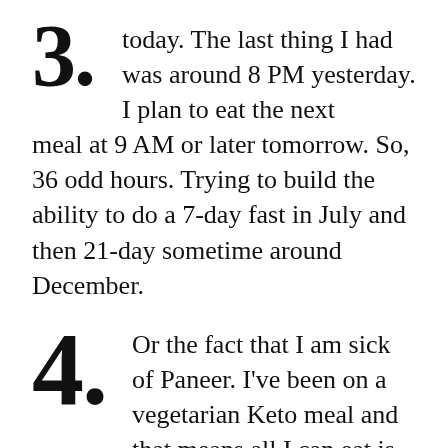3. today. The last thing I had was around 8 PM yesterday. I plan to eat the next meal at 9 AM or later tomorrow. So, 36 odd hours. Trying to build the ability to do a 7-day fast in July and then 21-day sometime around December.
4. Or the fact that I am sick of Paneer. I've been on a vegetarian Keto meal and that means all I can eat is Paneer in various forms and shapes. And it's been more than 10 days. I am definitely not losing weight. Definitely not losing inches. Definitely getting over whatever tiny liking I had for Paneer. Surprisingly, I have taken a fancy for Olives. Something that I hated all my life. To a